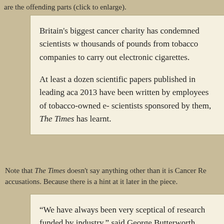are the offending parts (click to enlarge).
Britain's biggest cancer charity has condemned scientists who accepted thousands of pounds from tobacco companies to carry out research on electronic cigarettes.

At least a dozen scientific papers published in leading academic journals since 2013 have been written by employees of tobacco-owned e-cigarette firms or scientists sponsored by them, The Times has learnt.
Note that The Times doesn't say anything other than it is Cancer Research UK making the accusations. Because there is a hint at it later in the piece.
“We have always been very sceptical of research funded by the tobacco industry,” said George Butterworth, campaigns manager at Cancer Research UK, which generally promotes the use of e-cigarettes. “Tobacco…”